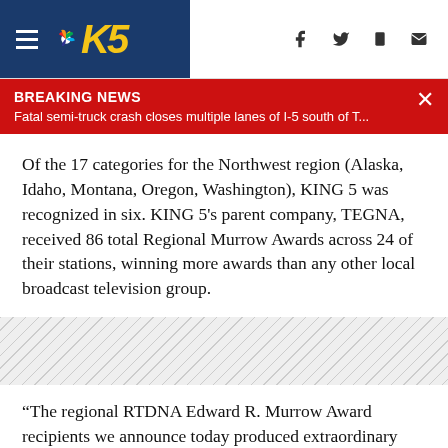KING 5 News — Breaking News header bar with navigation icons
BREAKING NEWS
Fatal semi-truck crash closes multiple lanes of I-5 south of T...
Of the 17 categories for the Northwest region (Alaska, Idaho, Montana, Oregon, Washington), KING 5 was recognized in six. KING 5's parent company, TEGNA, received 86 total Regional Murrow Awards across 24 of their stations, winning more awards than any other local broadcast television group.
“The regional RTDNA Edward R. Murrow Award recipients we announce today produced extraordinary journalism that brought clarity and context to 2020’s biggest news stories,” said RTDNA Chairwoman Andrea Stahlman. “The winning